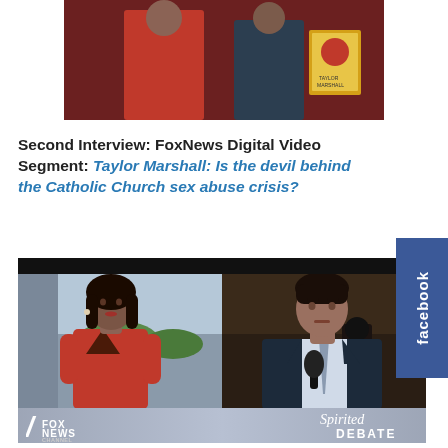[Figure (photo): Top photo showing two people standing together, partially cropped at top]
Second Interview: FoxNews Digital Video Segment: Taylor Marshall: Is the devil behind the Catholic Church sex abuse crisis?
[Figure (screenshot): Fox News video segment screenshot showing female anchor in red dress on left split screen and male guest in dark suit on right, with Fox News logo and 'Spirited Debate' banner at bottom]